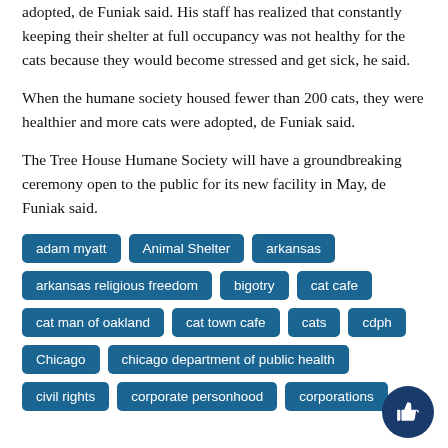adopted, de Funiak said. His staff has realized that constantly keeping their shelter at full occupancy was not healthy for the cats because they would become stressed and get sick, he said.
When the humane society housed fewer than 200 cats, they were healthier and more cats were adopted, de Funiak said.
The Tree House Humane Society will have a groundbreaking ceremony open to the public for its new facility in May, de Funiak said.
adam myatt
Animal Shelter
arkansas
arkansas religious freedom
bigotry
cat cafe
cat man of oakland
cat town cafe
cats
cdph
Chicago
chicago department of public health
civil rights
corporate personhood
corporations